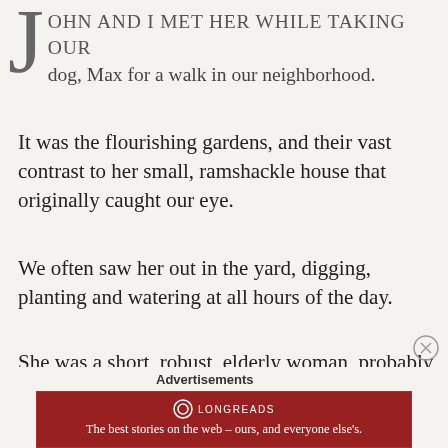John and I met her while taking our dog, Max for a walk in our neighborhood.
It was the flourishing gardens, and their vast contrast to her small, ramshackle house that originally caught our eye.
We often saw her out in the yard, digging, planting and watering at all hours of the day.
She was a short, robust, elderly woman, probably around seventy years old.
[Figure (other): Longreads advertisement banner with red background. Logo shows a circle with inner circle. Tagline: The best stories on the web — ours, and everyone else's.]